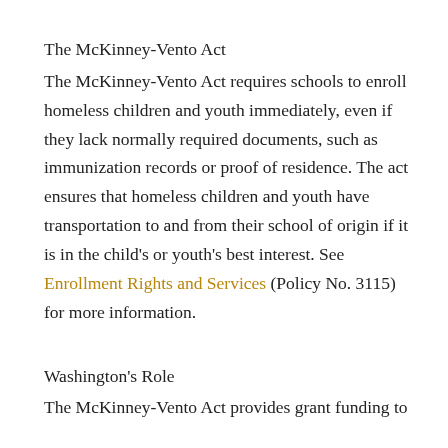The McKinney-Vento Act
The McKinney-Vento Act requires schools to enroll homeless children and youth immediately, even if they lack normally required documents, such as immunization records or proof of residence. The act ensures that homeless children and youth have transportation to and from their school of origin if it is in the child's or youth's best interest. See Enrollment Rights and Services (Policy No. 3115) for more information.
Washington's Role
The McKinney-Vento Act provides grant funding to